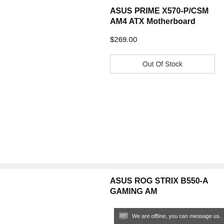ASUS PRIME X570-P/CSM AM4 ATX Motherboard
$269.00
Out Of Stock
[Figure (photo): ASUS ROG STRIX B550-A motherboard product photo, white and silver color scheme with ROG logo, top-down view showing PCIe slots, RAM slots, CPU socket, and chipset heatsinks]
ASUS ROG STRIX B550-A GAMING AM
We are offline, you can message us.